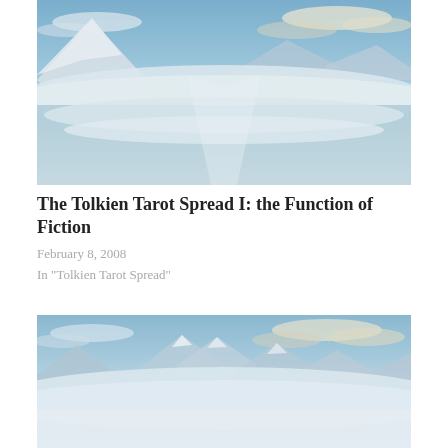[Figure (photo): Aerial landscape photograph showing snow-capped mountains, misty water or fog-covered terrain, and blue sky with wispy clouds — appears to be a fantasy or Tolkien-inspired digital artwork.]
The Tolkien Tarot Spread I: the Function of Fiction
February 8, 2008
In "Tolkien Tarot Spread"
[Figure (photo): Second aerial landscape photograph showing similar misty, fog-covered mountainous terrain with blue sky and clouds — same Tolkien-inspired digital artwork style.]